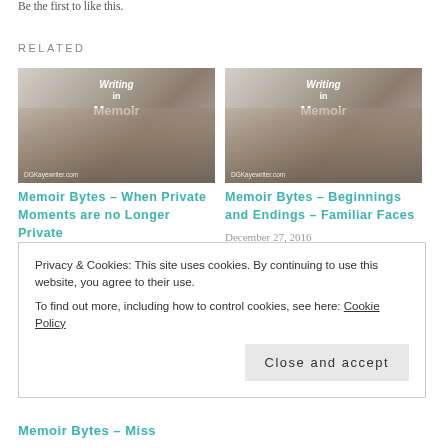Be the first to like this.
RELATED
[Figure (photo): Blog post thumbnail: Writing in Memoir - person typing on laptop, DGKayewriter.com watermark]
Memoir Bytes – When Private Moments are no Longer Private
January 10, 2017
In "Memoir Bytes"
[Figure (photo): Blog post thumbnail: Writing in Memoir - person typing on laptop, DGKayewriter.com watermark]
Memoir Bytes – Beginnings and Endings – Familiar Faces
December 27, 2016
In "Memoir Bytes"
Privacy & Cookies: This site uses cookies. By continuing to use this website, you agree to their use. To find out more, including how to control cookies, see here: Cookie Policy
Close and accept
Memoir Bytes – Miss